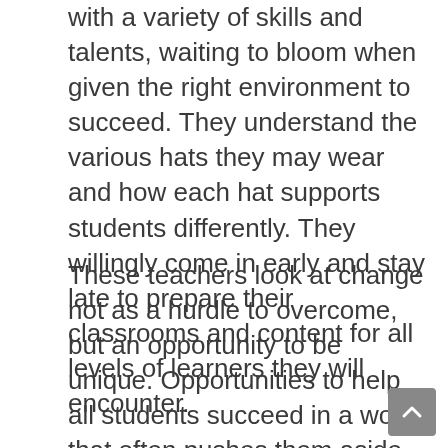with a variety of skills and talents, waiting to bloom when given the right environment to succeed. They understand the various hats they may wear and how each hat supports students differently. They willingly come in early and stay late to prepare their classrooms and content for all levels of learners they will encounter.
These teachers look at change not as a hurdle to overcome, but an opportunity to be unique. Opportunities to help all students succeed in a world that often pushes them aside. Opportunities to help other teachers see students for who they are today, not who they were last year. Opportunities of hope for a future that is vastly different than the world of education we often witness. Opportunities to